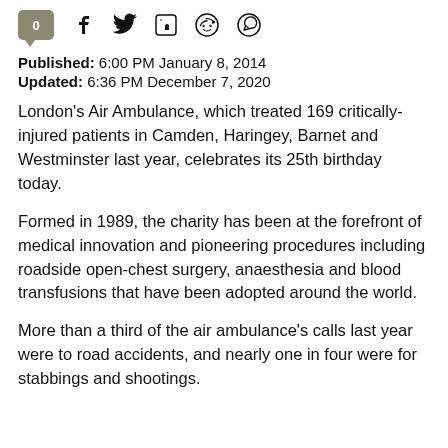[Figure (other): Social sharing bar with comment count bubble (0), Facebook, Twitter, LinkedIn, Reddit, and WhatsApp icons]
Published: 6:00 PM January 8, 2014
Updated: 6:36 PM December 7, 2020
London's Air Ambulance, which treated 169 critically-injured patients in Camden, Haringey, Barnet and Westminster last year, celebrates its 25th birthday today.
Formed in 1989, the charity has been at the forefront of medical innovation and pioneering procedures including roadside open-chest surgery, anaesthesia and blood transfusions that have been adopted around the world.
More than a third of the air ambulance's calls last year were to road accidents, and nearly one in four were for stabbings and shootings.